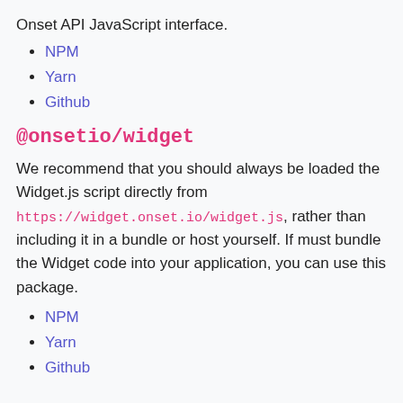Onset API JavaScript interface.
NPM
Yarn
Github
@onsetio/widget
We recommend that you should always be loaded the Widget.js script directly from https://widget.onset.io/widget.js, rather than including it in a bundle or host yourself. If must bundle the Widget code into your application, you can use this package.
NPM
Yarn
Github